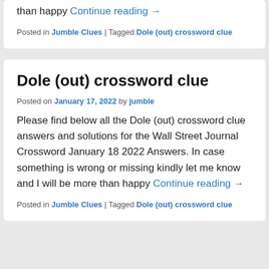than happy Continue reading →
Posted in Jumble Clues | Tagged Dole (out) crossword clue
Dole (out) crossword clue
Posted on January 17, 2022 by jumble
Please find below all the Dole (out) crossword clue answers and solutions for the Wall Street Journal Crossword January 18 2022 Answers. In case something is wrong or missing kindly let me know and I will be more than happy Continue reading →
Posted in Jumble Clues | Tagged Dole (out) crossword clue